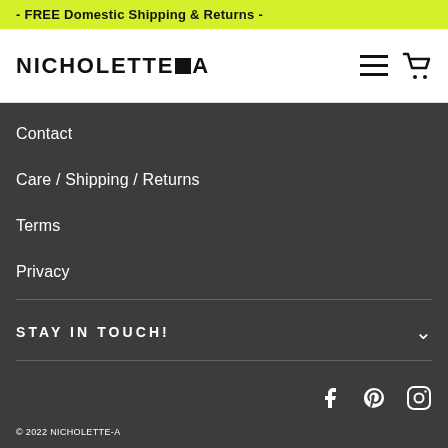- FREE Domestic Shipping & Returns -
[Figure (logo): NICHOLETTE-A logo with a small filled square between NICHOLETTE and A, plus hamburger menu icon and shopping cart icon on the right]
Contact
Care / Shipping / Returns
Terms
Privacy
STAY IN TOUCH!
© 2022 NICHOLETTE-A